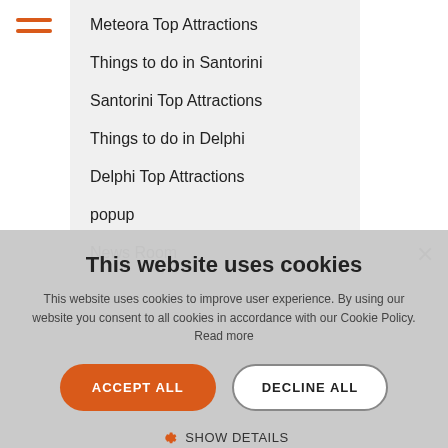Meteora Top Attractions
Things to do in Santorini
Santorini Top Attractions
Things to do in Delphi
Delphi Top Attractions
popup
News Room
other
popup NO TITLE
This website uses cookies
This website uses cookies to improve user experience. By using our website you consent to all cookies in accordance with our Cookie Policy. Read more
ACCEPT ALL
DECLINE ALL
SHOW DETAILS
POWERED BY COOKIE-SCRIPT